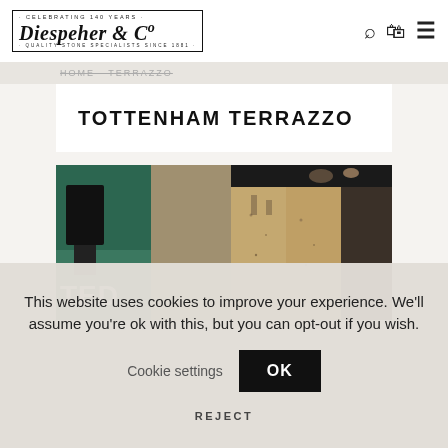· CELEBRATING 140 YEARS · Diespeher & Co · QUALITY STONE SPECIALISTS SINCE 1881 ·
Home Terrazzo
TOTTENHAM TERRAZZO
[Figure (photo): Interior showroom photo showing terrazzo stone samples and display counter with dark marble top, and teal green wall section. Text overlay reads 'TED' (partial word visible).]
This website uses cookies to improve your experience. We'll assume you're ok with this, but you can opt-out if you wish. Cookie settings OK REJECT